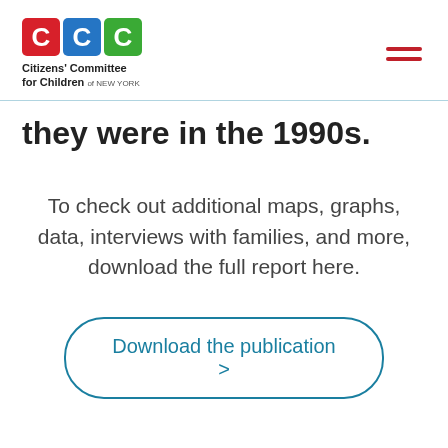[Figure (logo): Citizens' Committee for Children of New York logo — three colored squares with letters C C C in red, blue, and green, followed by organization name text]
they were in the 1990s.
To check out additional maps, graphs, data, interviews with families, and more, download the full report here.
Download the publication >